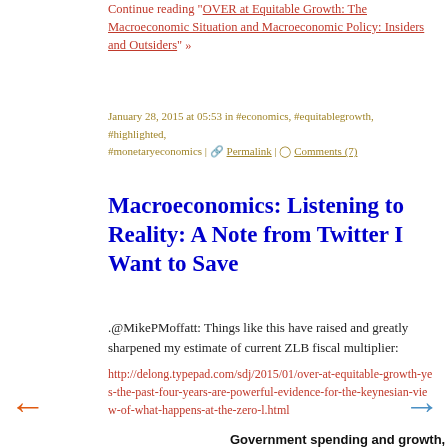Continue reading "OVER at Equitable Growth: The Macroeconomic Situation and Macroeconomic Policy: Insiders and Outsiders" »
January 28, 2015 at 05:53 in #economics, #equitablegrowth, #highlighted, #monetaryeconomics | Permalink | Comments (7)
Macroeconomics: Listening to Reality: A Note from Twitter I Want to Save
.@MikePMoffatt: Things like this have raised and greatly sharpened my estimate of current ZLB fiscal multiplier:
http://delong.typepad.com/sdj/2015/01/over-at-equitable-growth-yes-the-past-four-years-are-powerful-evidence-for-the-keynesian-view-of-what-happens-at-the-zero-l.html
[Figure (scatter-plot): Scatter plot showing government spending and growth with y-axis values 6.0, 8.0, 10.0 visible. Diamond-shaped data points visible. Navigation arrows on left and right sides.]